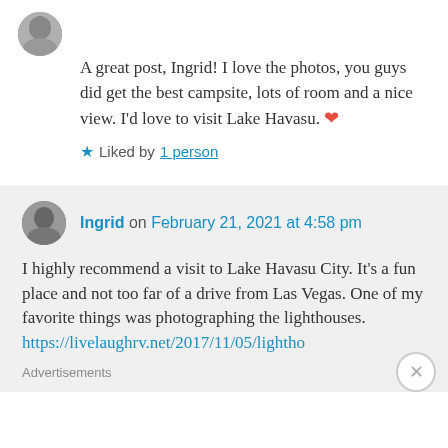[Figure (photo): User avatar photo at top left, partially cropped circular image]
A great post, Ingrid! I love the photos, you guys did get the best campsite, lots of room and a nice view. I'd love to visit Lake Havasu. ❤
★ Liked by 1 person
[Figure (photo): Ingrid's avatar photo, small circular image]
Ingrid on February 21, 2021 at 4:58 pm
I highly recommend a visit to Lake Havasu City. It's a fun place and not too far of a drive from Las Vegas. One of my favorite things was photographing the lighthouses. https://livelaughrv.net/2017/11/05/lightho
Advertisements